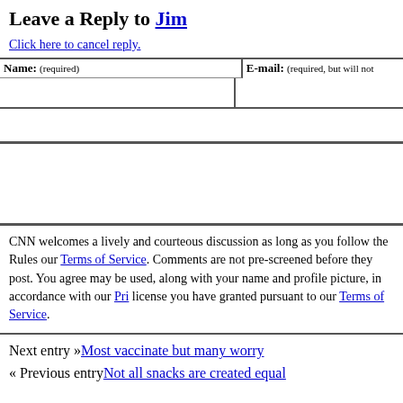Leave a Reply to Jim
Click here to cancel reply.
| Name: (required) | E-mail: (required, but will not …) |
| --- | --- |
|   |   |
CNN welcomes a lively and courteous discussion as long as you follow the Rules our Terms of Service. Comments are not pre-screened before they post. You agree may be used, along with your name and profile picture, in accordance with our Pri license you have granted pursuant to our Terms of Service.
Next entry »Most vaccinate but many worry
« Previous entryNot all snacks are created equal